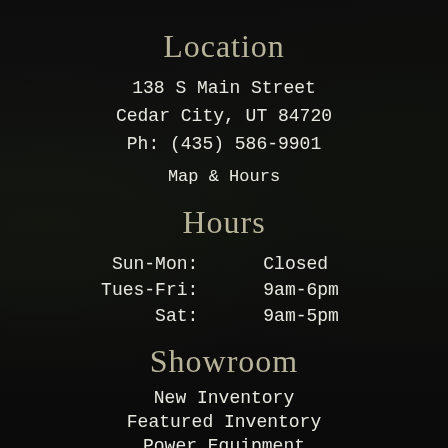Location
138 S Main Street
Cedar City, UT 84720
Ph: (435) 586-9901
Map & Hours
Hours
| Day | Hours |
| --- | --- |
| Sun-Mon: | Closed |
| Tues-Fri: | 9am-6pm |
| Sat: | 9am-5pm |
Showroom
New Inventory
Featured Inventory
Power Equipment